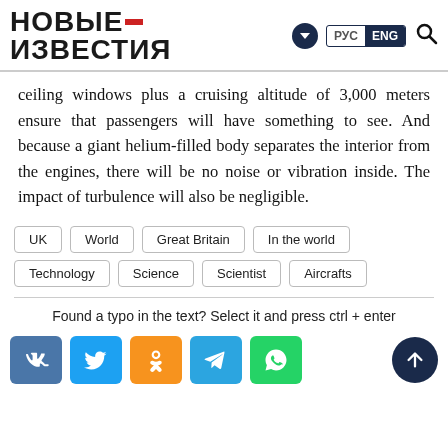НОВЫЕ ИЗВЕСТИЯ — РУС ENG
ceiling windows plus a cruising altitude of 3,000 meters ensure that passengers will have something to see. And because a giant helium-filled body separates the interior from the engines, there will be no noise or vibration inside. The impact of turbulence will also be negligible.
UK
World
Great Britain
In the world
Technology
Science
Scientist
Aircrafts
Found a typo in the text? Select it and press ctrl + enter